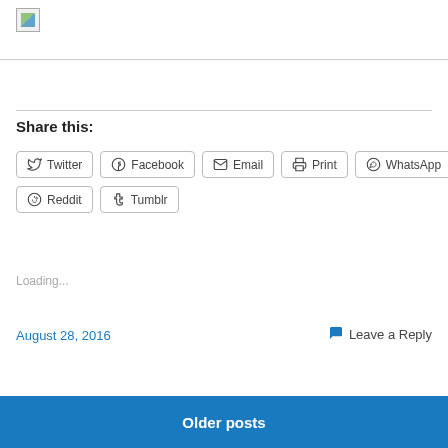[Figure (illustration): Broken/placeholder image icon in top-left with a horizontal divider line]
Share this:
Twitter Facebook Email Print WhatsApp Reddit Tumblr
Loading...
August 28, 2016
Leave a Reply
Older posts